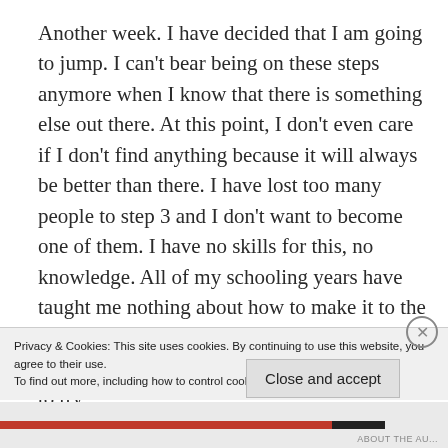Another week. I have decided that I am going to jump. I can't bear being on these steps anymore when I know that there is something else out there. At this point, I don't even care if I don't find anything because it will always be better than there. I have lost too many people to step 3 and I don't want to become one of them. I have no skills for this, no knowledge. All of my schooling years have taught me nothing about how to make it to the other steps, so I have to find it on my own. There is no turning back now, but I am going to try
Privacy & Cookies: This site uses cookies. By continuing to use this website, you agree to their use.
To find out more, including how to control cookies, see here: Cookie Policy
Close and accept